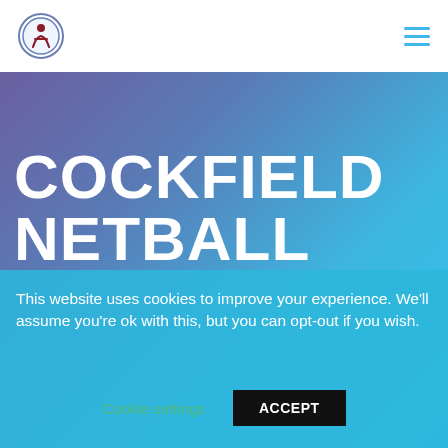[Figure (logo): Cockfield Netball circular logo with figure icon, blue border]
[Figure (other): Hamburger menu icon with three horizontal blue lines]
[Figure (illustration): Hero background with gradient from purple-blue on left to bright cyan on right]
COCKFIELD NETBALL
This website uses cookies to improve your experience. We'll assume you're ok with this, but you can opt-out if you wish.
Cookie settings
ACCEPT